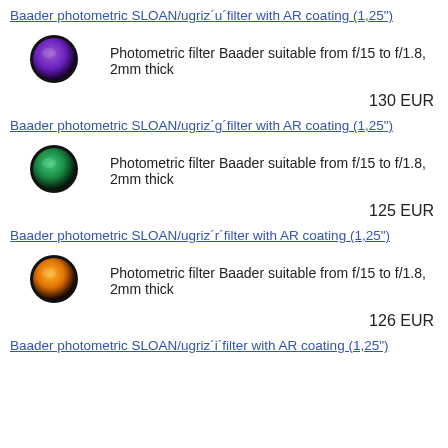Baader photometric SLOAN/ugriz´u´filter with AR coating (1,25")
[Figure (illustration): Purple circular optical filter with dark edges]
Photometric filter Baader suitable from f/15 to f/1.8, 2mm thick
130 EUR
Baader photometric SLOAN/ugriz´g´filter with AR coating (1,25")
[Figure (illustration): Green circular optical filter with dark edges]
Photometric filter Baader suitable from f/15 to f/1.8, 2mm thick
125 EUR
Baader photometric SLOAN/ugriz´r´filter with AR coating (1,25")
[Figure (illustration): Orange circular optical filter with dark edges]
Photometric filter Baader suitable from f/15 to f/1.8, 2mm thick
126 EUR
Baader photometric SLOAN/ugriz´i´filter with AR coating (1,25")